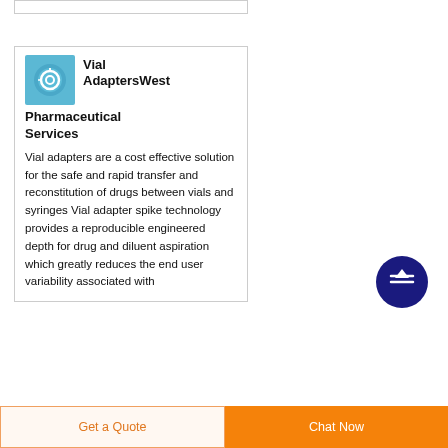[Figure (logo): Vial adapters product image on blue background]
Vial AdaptersWest Pharmaceutical Services
Vial adapters are a cost effective solution for the safe and rapid transfer and reconstitution of drugs between vials and syringes Vial adapter spike technology provides a reproducible engineered depth for drug and diluent aspiration which greatly reduces the end user variability associated with
[Figure (other): Scroll to top button - dark blue circle with upward arrow]
Get a Quote  Chat Now